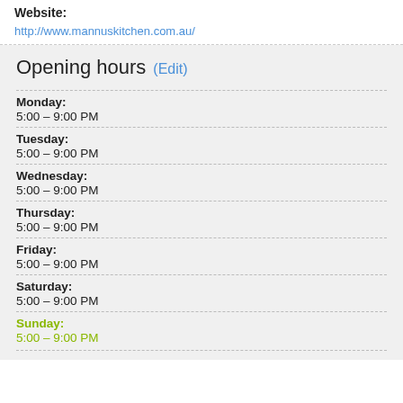Website:
http://www.mannuskitchen.com.au/
Opening hours (Edit)
Monday: 5:00 – 9:00 PM
Tuesday: 5:00 – 9:00 PM
Wednesday: 5:00 – 9:00 PM
Thursday: 5:00 – 9:00 PM
Friday: 5:00 – 9:00 PM
Saturday: 5:00 – 9:00 PM
Sunday: 5:00 – 9:00 PM